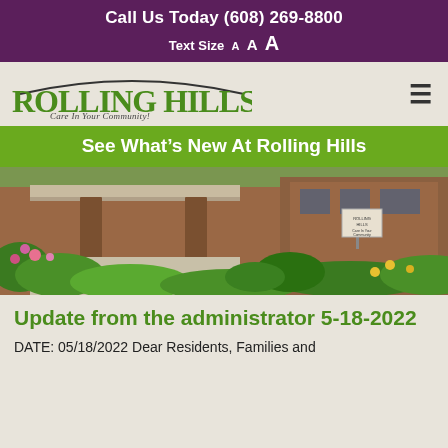Call Us Today (608) 269-8800
Text Size A A A
[Figure (logo): Rolling Hills logo with green text and arc, tagline 'Care In Your Community!']
See What's New At Rolling Hills
[Figure (photo): Exterior photo of Rolling Hills building with brick columns, covered walkway, and landscaped gardens with colorful flowers and greenery]
Update from the administrator 5-18-2022
DATE: 05/18/2022 Dear Residents, Families and